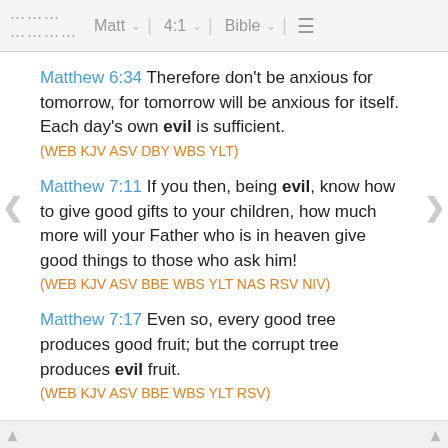Matt 4:1 Bible
Matthew 6:34 Therefore don't be anxious for tomorrow, for tomorrow will be anxious for itself. Each day's own evil is sufficient.
(WEB KJV ASV DBY WBS YLT)
Matthew 7:11 If you then, being evil, know how to give good gifts to your children, how much more will your Father who is in heaven give good things to those who ask him!
(WEB KJV ASV BBE WBS YLT NAS RSV NIV)
Matthew 7:17 Even so, every good tree produces good fruit; but the corrupt tree produces evil fruit.
(WEB KJV ASV BBE WBS YLT RSV)
Matthew 7:18 A good tree can't produce evil fruit, neither can a corrupt tree produce good fruit.